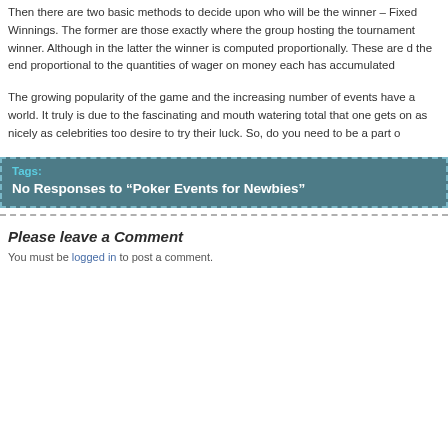Then there are two basic methods to decide upon who will be the winner – Fixed Winnings. The former are those exactly where the group hosting the tournament winner. Although in the latter the winner is computed proportionally. These are d the end proportional to the quantities of wager on money each has accumulated
The growing popularity of the game and the increasing number of events have a world. It truly is due to the fascinating and mouth watering total that one gets on as nicely as celebrities too desire to try their luck. So, do you need to be a part o
Tags:
No Responses to “Poker Events for Newbies”
Please leave a Comment
You must be logged in to post a comment.